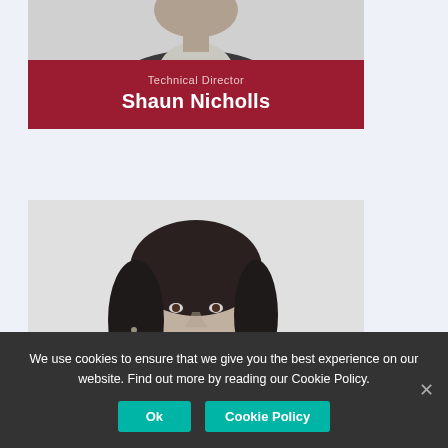[Figure (photo): Grayscale photo of a person (Shaun Nicholls), cropped at upper body, wearing dark jacket]
Technical Director
Shaun Nicholls
[Figure (photo): Grayscale photo of a woman with dark hair, smiling, professional headshot]
We use cookies to ensure that we give you the best experience on our website. Find out more by reading our Cookie Policy.
Ok
Cookie Policy